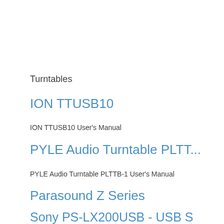Turntables
ION TTUSB10
ION TTUSB10 User's Manual
PYLE Audio Turntable PLTT…
PYLE Audio Turntable PLTTB-1 User's Manual
Parasound Z Series
Parasound Z Series User's Manual
Sony PS-LX200USB - USB S…